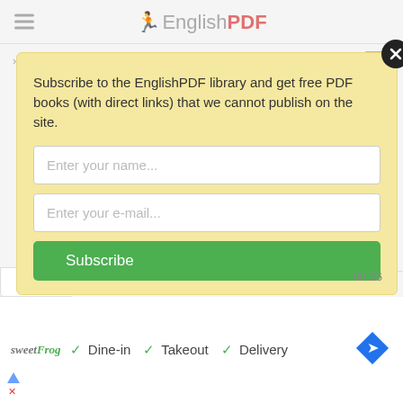EnglishPDF
> Personal Growth   47
[Figure (screenshot): Modal dialog box with yellow/cream background. Contains subscription text, name input field, email input field, Subscribe button, and close button. Timer shows 00:26.]
Subscribe to the EnglishPDF library and get free PDF books (with direct links) that we cannot publish on the site.
Enter your name...
Enter your e-mail...
Subscribe
00:26
[Figure (screenshot): Advertisement banner for sweetFrog showing Dine-in, Takeout, Delivery checkmarks and navigation arrow icon]